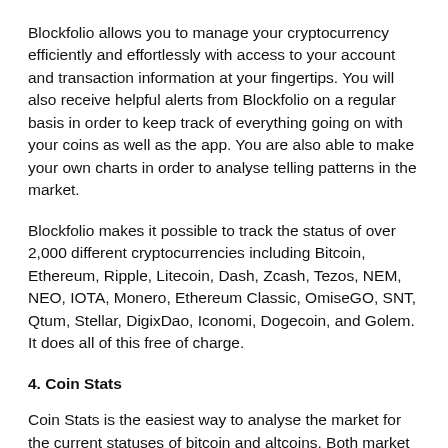Blockfolio allows you to manage your cryptocurrency efficiently and effortlessly with access to your account and transaction information at your fingertips. You will also receive helpful alerts from Blockfolio on a regular basis in order to keep track of everything going on with your coins as well as the app. You are also able to make your own charts in order to analyse telling patterns in the market.
Blockfolio makes it possible to track the status of over 2,000 different cryptocurrencies including Bitcoin, Ethereum, Ripple, Litecoin, Dash, Zcash, Tezos, NEM, NEO, IOTA, Monero, Ethereum Classic, OmiseGO, SNT, Qtum, Stellar, DigixDao, Iconomi, Dogecoin, and Golem. It does all of this free of charge.
4. Coin Stats
Coin Stats is the easiest way to analyse the market for the current statuses of bitcoin and altcoins. Both market data and price data are available on this platform. You are able to choose from 30 fiat currencies in order to view prices on Coin Stats, as well as constantly track the prices of over 20 exchanges by registering for alerts. The app is available in